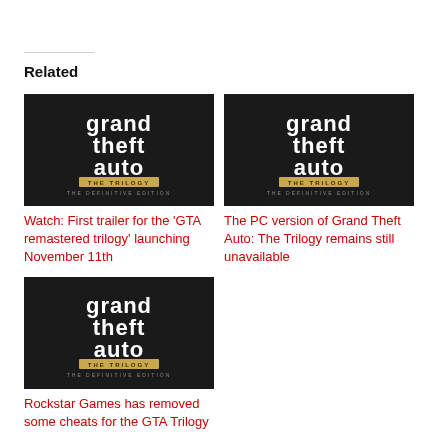Related
[Figure (photo): Grand Theft Auto The Trilogy The Definitive Edition logo on dark background]
Watch: First trailer for the 'GTA remastered trilogy' launching November 11th
[Figure (photo): Grand Theft Auto The Trilogy The Definitive Edition logo on dark background]
The PC version of Grand Theft Auto: The Trilogy remains still unavailable
[Figure (photo): Grand Theft Auto The Trilogy The Definitive Edition logo on dark background]
Rockstar Games has removed some cheats for the GTA Trilogy